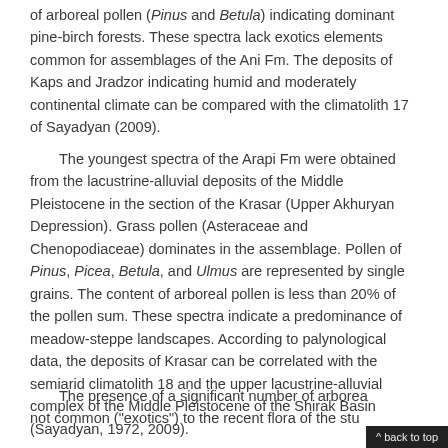of arboreal pollen (Pinus and Betula) indicating dominant pine-birch forests. These spectra lack exotics elements common for assemblages of the Ani Fm. The deposits of Kaps and Jradzor indicating humid and moderately continental climate can be compared with the climatolith 17 of Sayadyan (2009).
The youngest spectra of the Arapi Fm were obtained from the lacustrine-alluvial deposits of the Middle Pleistocene in the section of the Krasar (Upper Akhuryan Depression). Grass pollen (Asteraceae and Chenopodiaceae) dominates in the assemblage. Pollen of Pinus, Picea, Betula, and Ulmus are represented by single grains. The content of arboreal pollen is less than 20% of the pollen sum. These spectra indicate a predominance of meadow-steppe landscapes. According to palynological data, the deposits of Krasar can be correlated with the semiarid climatolith 18 and the upper lacustrine-alluvial complex of the Middle Pleistocene of the Shirak Basin (Sayadyan, 1972, 2009).
The presence of a significant number of arboreal not common ("exotics") to the recent flora of the stu...